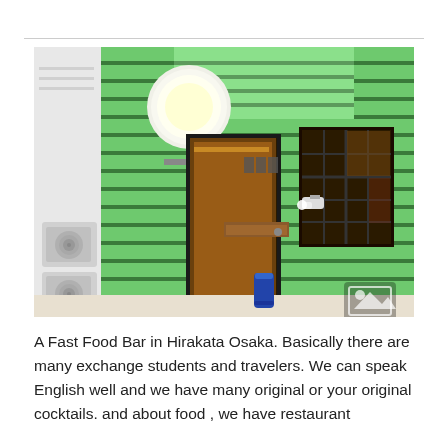[Figure (photo): Exterior of a fast food bar in Hirakata Osaka. The building facade is painted bright lime green with horizontal wooden slat siding. There is an open doorway in the center revealing a warmly lit interior with a bar counter and wall decorations. A large round light fixture is visible on the upper left. A window with dark pane grid is on the right side. A spotlight is mounted on the green wall. An air conditioning unit is on the lower left. A blue can sits on a table in the foreground.]
A Fast Food Bar in Hirakata Osaka. Basically there are many exchange students and travelers. We can speak English well and we have many original or your original cocktails. and about food , we have restaurant